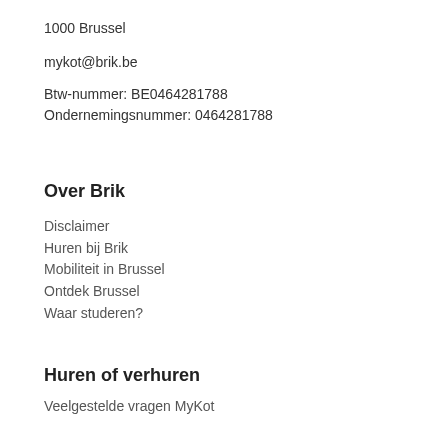1000 Brussel
mykot@brik.be
Btw-nummer: BE0464281788
Ondernemingsnummer: 0464281788
Over Brik
Disclaimer
Huren bij Brik
Mobiliteit in Brussel
Ontdek Brussel
Waar studeren?
Huren of verhuren
Veelgestelde vragen MyKot